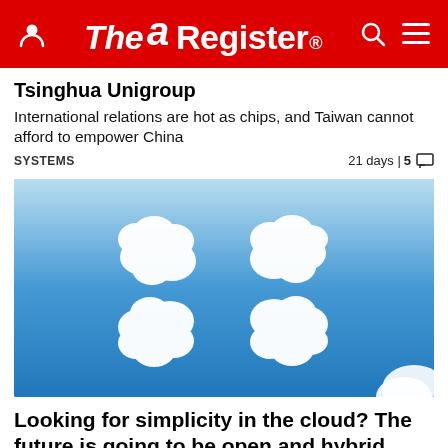The Register
Tsinghua Unigroup
International relations are hot as chips, and Taiwan cannot afford to empower China
SYSTEMS   21 days | 5 comments
[Figure (photo): Blue sky with white clouds arranged in a cross/plus pattern, resembling four arrow-shaped cloud formations pointing outward.]
Looking for simplicity in the cloud? The future is going to be open and hybrid